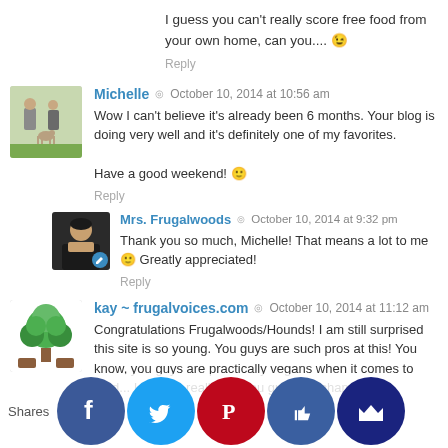I guess you can't really score free food from your own home, can you.... 😉
Reply
Michelle ◎ October 10, 2014 at 10:56 am
Wow I can't believe it's already been 6 months. Your blog is doing very well and it's definitely one of my favorites.

Have a good weekend! 🙂
Reply
Mrs. Frugalwoods ◎ October 10, 2014 at 9:32 pm
Thank you so much, Michelle! That means a lot to me 🙂 Greatly appreciated!
Reply
kay ~ frugalvoices.com ◎ October 10, 2014 at 11:12 am
Congratulations Frugalwoods/Hounds! I am still surprised this site is so young. You guys are such pros at this! You know, you guys are practically vegans when it comes to food... I haven't really are you guys the champion dumpster divers. Yes it is a fascinating lifestyle. Have you guys ever considered it b...